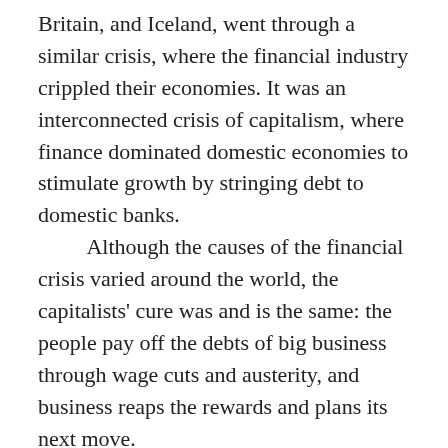Britain, and Iceland, went through a similar crisis, where the financial industry crippled their economies. It was an interconnected crisis of capitalism, where finance dominated domestic economies to stimulate growth by stringing debt to domestic banks.
    Although the causes of the financial crisis varied around the world, the capitalists' cure was and is the same: the people pay off the debts of big business through wage cuts and austerity, and business reaps the rewards and plans its next move.
    The Dublin District of the CPI urges people to think deeply and critically about the role and nature of the EU in relation to debt and austerity, which has besieged our nation and our people. We cannot continue to harbour the illusion that we can